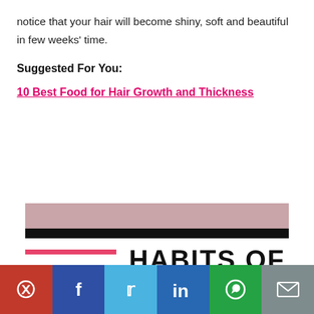notice that your hair will become shiny, soft and beautiful in few weeks' time.
Suggested For You:
10 Best Food for Hair Growth and Thickness
[Figure (illustration): Partial banner image with dark horizontal stripe, mauve/pink background stripe, pink horizontal line, and bold black text reading 'HABITS OF']
Social share bar: Pinterest, Facebook, Twitter, LinkedIn, WhatsApp, Email